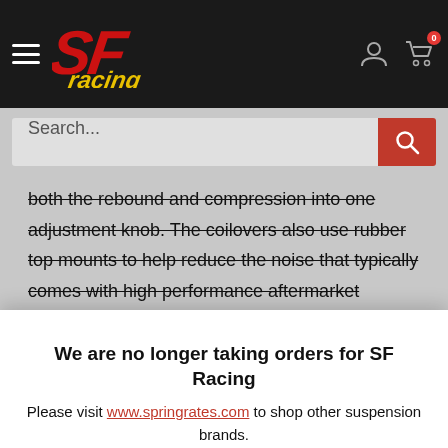[Figure (logo): SF Racing logo in red and yellow on dark navigation bar with hamburger menu, user icon, and cart icon with badge showing 0]
[Figure (screenshot): Search bar with placeholder text 'Search...' and red search button]
both the rebound and compression into one adjustment knob. The coilovers also use rubber top mounts to help reduce the noise that typically comes with high performance aftermarket coilovers. SF Coilovers come standard with an anodized coating to protect against rust and corrosion caused by extreme use and harsh external
We are no longer taking orders for SF Racing
Please visit www.springrates.com to shop other suspension brands.